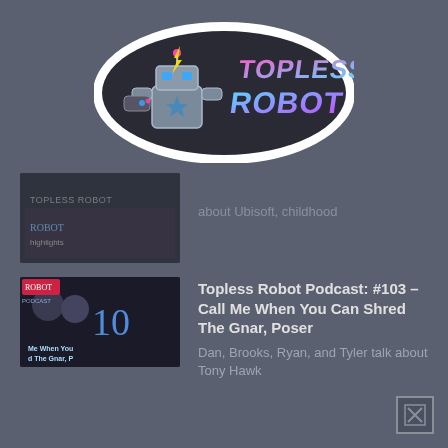[Figure (logo): Topless Robot logo — cartoon robot holding a game controller with colorful retro-style text 'TOPLESS ROBOT' in pink and blue gradient on dark sticker-style background]
about Ubisoft, childhood
[Figure (photo): Thumbnail for Topless Robot Podcast episode #103, showing hosts with blue number 10 and text 'Me When You d The Gnar, P']
Topless Robot Podcast: #103 – Call Me When You Can Shred The Gnar, Poser
Dan, Brooks, Ryan, and Tyler talk about Tony Hawk